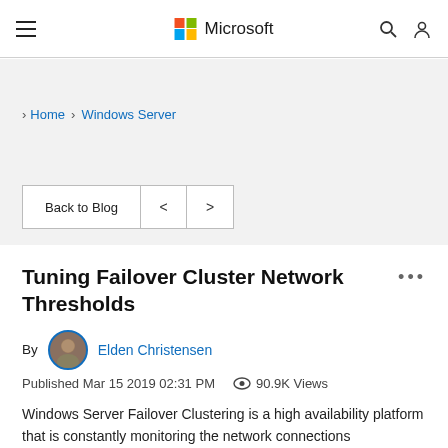Microsoft
Home › Windows Server
Back to Blog < >
Tuning Failover Cluster Network Thresholds
By Elden Christensen
Published Mar 15 2019 02:31 PM  90.9K Views
Windows Server Failover Clustering is a high availability platform that is constantly monitoring the network connections